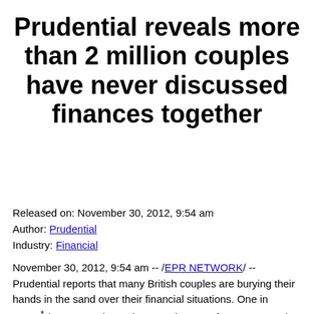Prudential reveals more than 2 million couples have never discussed finances together
Released on: November 30, 2012, 9:54 am
Author: Prudential
Industry: Financial
November 30, 2012, 9:54 am -- /EPR NETWORK/ -- Prudential reports that many British couples are burying their hands in the sand over their financial situations. One in seven* (14 per cent) couples over the age of 40 - or around 4.2** million people - admit they have never discussed their finances